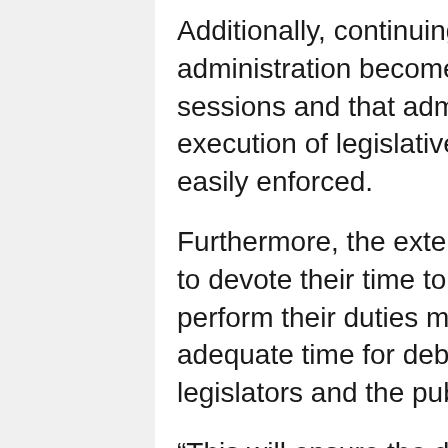Additionally, continuing Legislative oversight of the administration becomes more reasonable with year-long sessions and that administrative accountability of the execution of legislative policies would also be more easily enforced.
Furthermore, the extended time in office and the ability to devote their time to issues allows Legislators to perform their duties more effectively — allowing adequate time for debate and hearings between the legislators and the public.
“This will ensure the decision-making process to be more informed,” the preamble said, noting the Legislature is made up of the people and for the people of American Samoa and “it is the duty of the legislature to perform in its highest